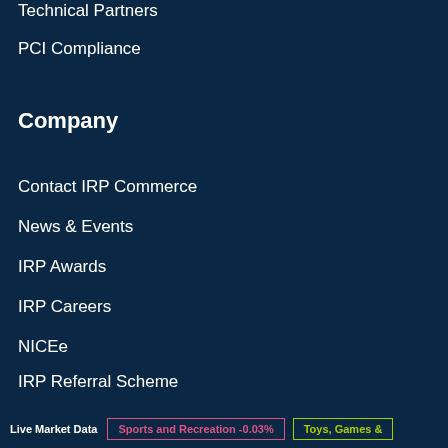Technical Partners
PCI Compliance
Company
Contact IRP Commerce
News & Events
IRP Awards
IRP Careers
NICEe
IRP Referral Scheme
IRP Status
Connect
Live Market Data  Sports and Recreation -0.03%  Toys, Games &...